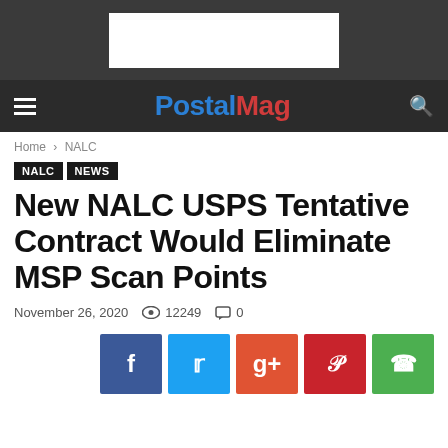[Figure (other): Advertisement banner area - white rectangle on dark gray background]
PostalMag
Home › NALC
NALC  NEWS
New NALC USPS Tentative Contract Would Eliminate MSP Scan Points
November 26, 2020  👁 12249  💬 0
[Figure (other): Social share buttons: Facebook, Twitter, Google+, Pinterest, WhatsApp]